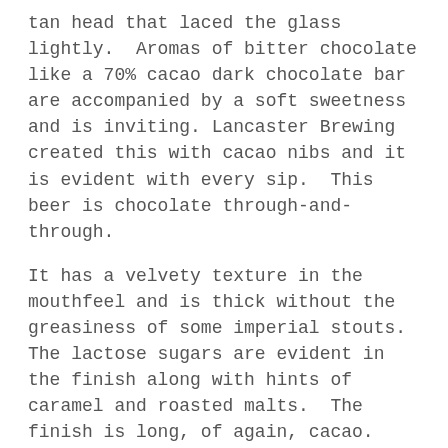tan head that laced the glass lightly. Aromas of bitter chocolate like a 70% cacao dark chocolate bar are accompanied by a soft sweetness and is inviting. Lancaster Brewing created this with cacao nibs and it is evident with every sip. This beer is chocolate through-and-through.
It has a velvety texture in the mouthfeel and is thick without the greasiness of some imperial stouts. The lactose sugars are evident in the finish along with hints of caramel and roasted malts. The finish is long, of again, cacao. The beer tastes of Hershey's syrup but has more of a refined chocolate expression in the long lasting and pleasant finish. This beer is beyond smooth in texture and mouthfeel with 6.8% ABV that is never evident or intrusive.